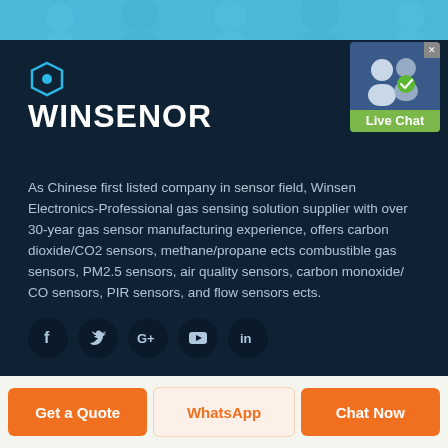[Figure (logo): WINSENOR logo with hexagon icon on dark navy background]
[Figure (illustration): Live Chat badge with two person silhouettes and green Live Chat label]
As Chinese first listed company in sensor field, Winsen Electronics-Professional gas sensing solution supplier with over 30-year gas sensor manufacturing experience, offers carbon dioxide/CO2 sensors, methane/propane ects combustible gas sensors, PM2.5 sensors, air quality sensors, carbon monoxide/ CO sensors, PIR sensors, and flow sensors ects.
[Figure (infographic): Social media icons row: Facebook, Twitter, Google+, YouTube, LinkedIn on dark circular backgrounds]
[Figure (infographic): Three bottom action buttons: Get a Quote (orange), WhatsApp (light/orange text), Chat Now (orange)]